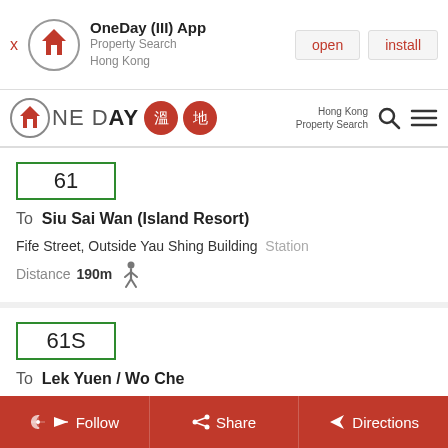[Figure (screenshot): App install banner for OneDay (III) App - Property Search Hong Kong, with open and install buttons]
[Figure (logo): OneDay property search Hong Kong logo with Chinese characters and navigation bar]
61
To  Siu Sai Wan (Island Resort)
Fife Street, Outside Yau Shing Building  Station
Distance  190m  [walking icon]
61S
To  Lek Yuen / Wo Che
Fife Street, Outside Trade And Industry Department Tower  Station
Distance  180  [walking icon]